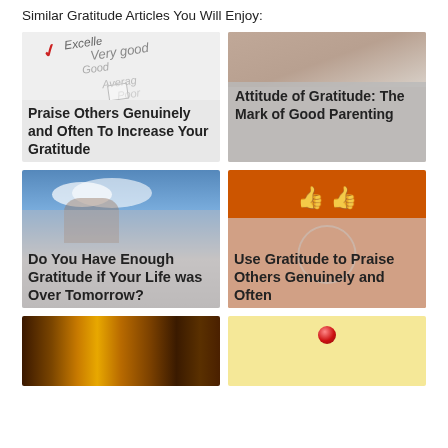Similar Gratitude Articles You Will Enjoy:
[Figure (illustration): Article thumbnail showing a grading chart with checkmark and ratings (Excellent, Very good, Good, Average, Poor). Title: Praise Others Genuinely and Often To Increase Your Gratitude]
[Figure (illustration): Article thumbnail showing a child with glasses. Title: Attitude of Gratitude: The Mark of Good Parenting]
[Figure (photo): Article thumbnail showing hands raised to sky with clouds. Title: Do You Have Enough Gratitude if Your Life was Over Tomorrow?]
[Figure (illustration): Article thumbnail with orange background and thumbs up icons. Title: Use Gratitude to Praise Others Genuinely and Often]
[Figure (photo): Article thumbnail showing dark wooden texture/bars]
[Figure (illustration): Article thumbnail showing a note/paper with red pin/thumbtack]